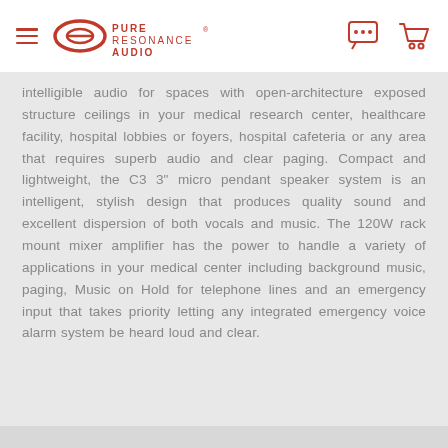Pure Resonance Audio
intelligible audio for spaces with open-architecture exposed structure ceilings in your medical research center, healthcare facility, hospital lobbies or foyers, hospital cafeteria or any area that requires superb audio and clear paging. Compact and lightweight, the C3 3" micro pendant speaker system is an intelligent, stylish design that produces quality sound and excellent dispersion of both vocals and music. The 120W rack mount mixer amplifier has the power to handle a variety of applications in your medical center including background music, paging, Music on Hold for telephone lines and an emergency input that takes priority letting any integrated emergency voice alarm system be heard loud and clear.